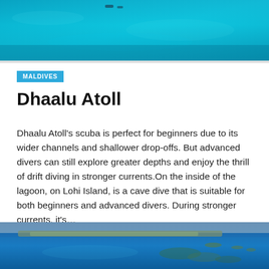[Figure (photo): Aerial underwater-toned view of ocean with small boats visible, blue water backdrop]
MALDIVES
Dhaalu Atoll
Dhaalu Atoll’s scuba is perfect for beginners due to its wider channels and shallower drop-offs. But advanced divers can still explore greater depths and enjoy the thrill of drift diving in stronger currents.On the inside of the lagoon, on Lohi Island, is a cave dive that is suitable for both beginners and advanced divers. During stronger currents, it’s…
[Figure (photo): Aerial view of Maldivian islands with turquoise water and coral reefs visible from above]